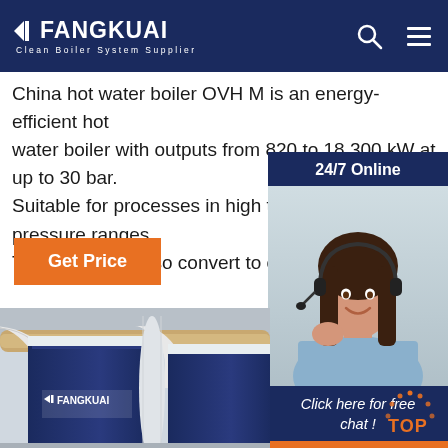FANGKUAI - Clean Boiler System Supplier
...China hot water boiler OVH M is an energy-efficient hot water boiler with outputs from 820 to 18,300 kW at up to 30 bar. Suitable for processes in high temperature and pressure ranges. The boiler can also convert to climate-neutral fu...
[Figure (screenshot): Orange 'Get Price' button]
[Figure (photo): 24/7 Online customer service representative with headset, sidebar widget with 'Click here for free chat!' and QUOTATION button]
[Figure (photo): FANGKUAI branded industrial boiler units in a facility, large blue panels with brand logo, white pipes and beige pipes running overhead]